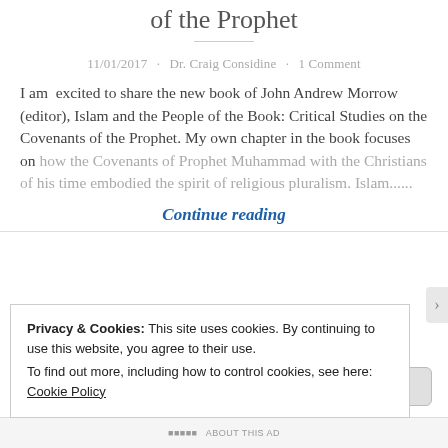of the Prophet
11/01/2017 · Dr. Craig Considine · 1 Comment
I am excited to share the new book of John Andrew Morrow (editor), Islam and the People of the Book: Critical Studies on the Covenants of the Prophet. My own chapter in the book focuses on how the Covenants of Prophet Muhammad with the Christians of his time embodied the spirit of religious pluralism. Islam......
Continue reading
Privacy & Cookies: This site uses cookies. By continuing to use this website, you agree to their use.
To find out more, including how to control cookies, see here: Cookie Policy
Close and accept